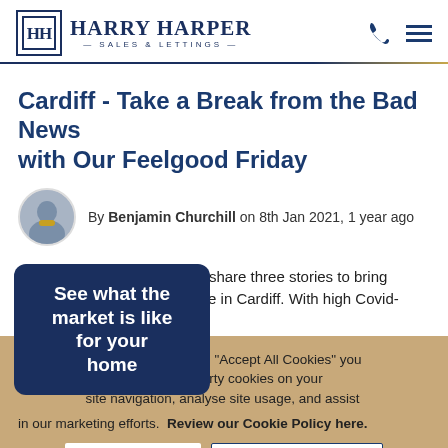[Figure (logo): Harry Harper Sales & Lettings logo with HH monogram in a box and company name]
Cardiff - Take a Break from the Bad News with Our Feelgood Friday
By Benjamin Churchill on 8th Jan 2021, 1 year ago
See what the market is like for your home
e read, we share three stories to bring es of people in Cardiff. With high Covid-
browse or by clicking “Accept All Cookies” you g of first and third-party cookies on your site navigation, analyse site usage, and assist in our marketing efforts. Review our Cookie Policy here.
Deny Cookies   Accept All Cookies